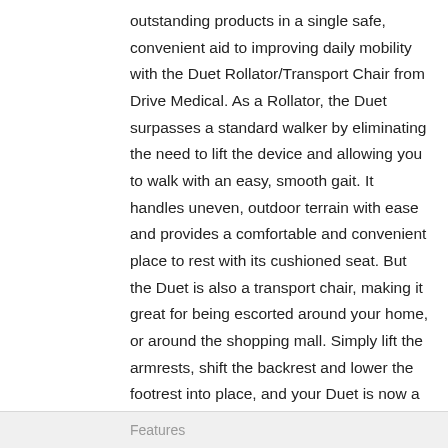outstanding products in a single safe, convenient aid to improving daily mobility with the Duet Rollator/Transport Chair from Drive Medical. As a Rollator, the Duet surpasses a standard walker by eliminating the need to lift the device and allowing you to walk with an easy, smooth gait. It handles uneven, outdoor terrain with ease and provides a comfortable and convenient place to rest with its cushioned seat. But the Duet is also a transport chair, making it great for being escorted around your home, or around the shopping mall. Simply lift the armrests, shift the backrest and lower the footrest into place, and your Duet is now a comfortable seat for you while a caregiver easily pushes you.
Features